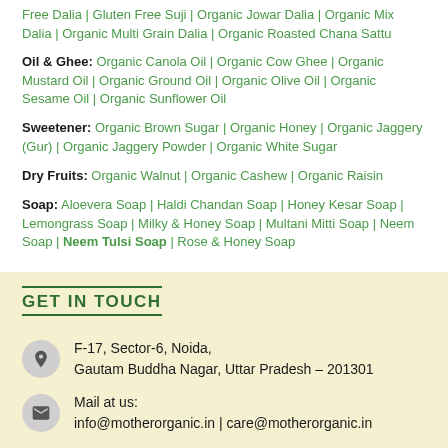Free Dalia | Gluten Free Suji | Organic Jowar Dalia | Organic Mix Dalia | Organic Multi Grain Dalia | Organic Roasted Chana Sattu
Oil & Ghee: Organic Canola Oil | Organic Cow Ghee | Organic Mustard Oil | Organic Ground Oil | Organic Olive Oil | Organic Sesame Oil | Organic Sunflower Oil
Sweetener: Organic Brown Sugar | Organic Honey | Organic Jaggery (Gur) | Organic Jaggery Powder | Organic White Sugar
Dry Fruits: Organic Walnut | Organic Cashew | Organic Raisin
Soap: Aloevera Soap | Haldi Chandan Soap | Honey Kesar Soap | Lemongrass Soap | Milky & Honey Soap | Multani Mitti Soap | Neem Soap | Neem Tulsi Soap | Rose & Honey Soap
GET IN TOUCH
F-17, Sector-6, Noida, Gautam Buddha Nagar, Uttar Pradesh – 201301
Mail at us: info@motherorganic.in | care@motherorganic.in